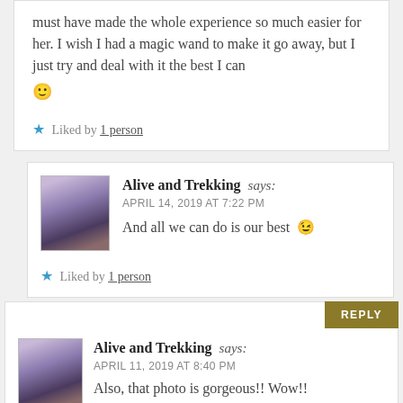must have made the whole experience so much easier for her. I wish I had a magic wand to make it go away, but I just try and deal with it the best I can 🙂
★ Liked by 1 person
👤 Alive and Trekking says: APRIL 14, 2019 AT 7:22 PM And all we can do is our best 😉
★ Liked by 1 person
Alive and Trekking says: APRIL 11, 2019 AT 8:40 PM Also, that photo is gorgeous!! Wow!!